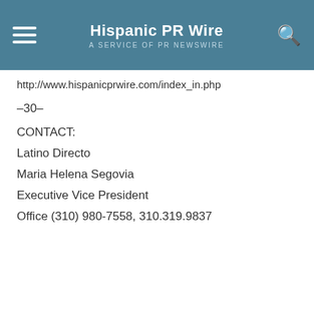Hispanic PR Wire A SERVICE OF PR NEWSWIRE
http://www.hispanicprwire.com/index_in.php
–30–
CONTACT:
Latino Directo
Maria Helena Segovia
Executive Vice President
Office (310) 980-7558, 310.319.9837